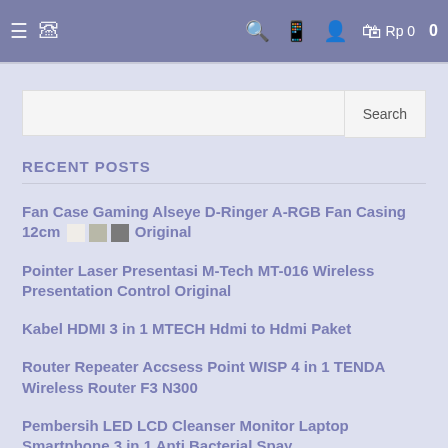≡ [WhatsApp icon] [Search icon] [Mobile icon] [User icon] [Cart icon] Rp 0  0
RECENT POSTS
Fan Case Gaming Alseye D-Ringer A-RGB Fan Casing 12cm Original
Pointer Laser Presentasi M-Tech MT-016 Wireless Presentation Control Original
Kabel HDMI 3 in 1 MTECH Hdmi to Hdmi Paket
Router Repeater Accsess Point WISP 4 in 1 TENDA Wireless Router F3 N300
Pembersih LED LCD Cleanser Monitor Laptop Smartphone 3 in 1 Anti Bacterial Spay